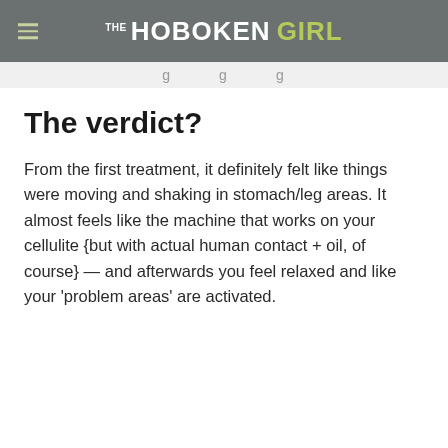THE HOBOKEN GIRL
g g g
The verdict?
From the first treatment, it definitely felt like things were moving and shaking in stomach/leg areas. It almost feels like the machine that works on your cellulite {but with actual human contact + oil, of course} — and afterwards you feel relaxed and like your ‘problem areas’ are activated.